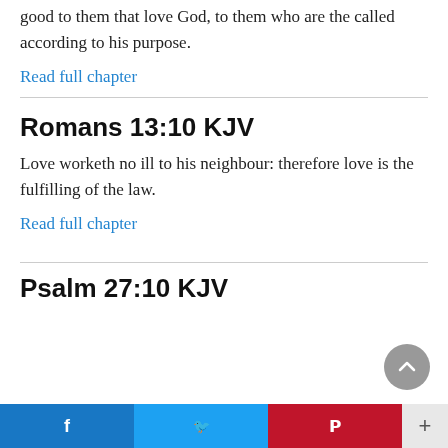good to them that love God, to them who are the called according to his purpose.
Read full chapter
Romans 13:10 KJV
Love worketh no ill to his neighbour: therefore love is the fulfilling of the law.
Read full chapter
Psalm 27:10 KJV
[Figure (other): Social sharing bar with Facebook, Twitter, Pinterest, and more (+) buttons]